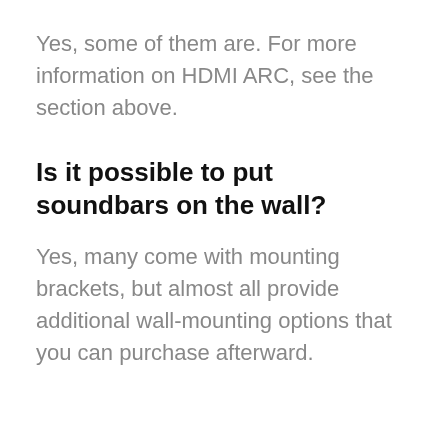Yes, some of them are. For more information on HDMI ARC, see the section above.
Is it possible to put soundbars on the wall?
Yes, many come with mounting brackets, but almost all provide additional wall-mounting options that you can purchase afterward.